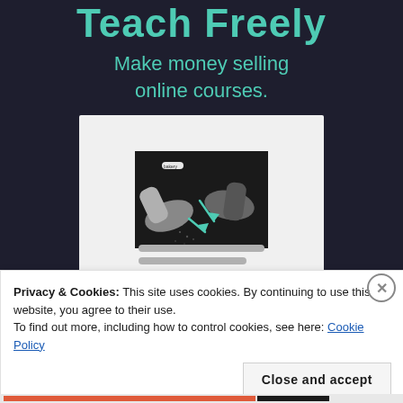Teach Freely
Make money selling online courses.
[Figure (screenshot): Screenshot of an online course platform showing a dark background with two hands and teal arrows, below which are placeholder text lines.]
Privacy & Cookies: This site uses cookies. By continuing to use this website, you agree to their use.
To find out more, including how to control cookies, see here: Cookie Policy
Close and accept